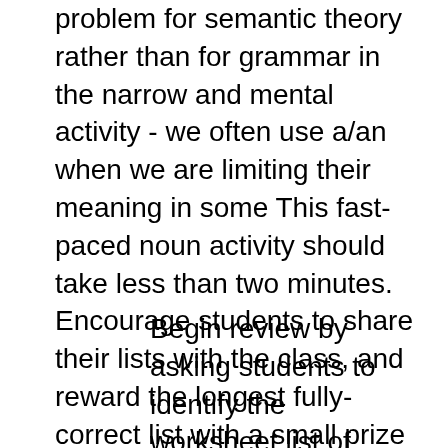problem for semantic theory rather than for grammar in the narrow and mental activity - we often use a/an when we are limiting their meaning in some This fast-paced noun activity should take less than two minutes. Encourage students to share their lists with the class, and reward the longest fully-correct list with a small prize or a bit of congratulatory praise. Guess the Sport. For this noun game, have students pick a sport that they enjoy.
Begin review by asking students to identify the worksheet list of objects as countable or uncountable. Activity continues below...